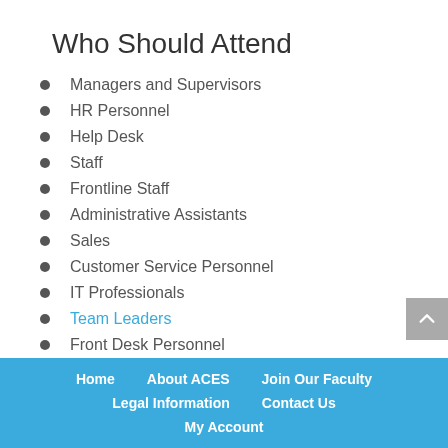Who Should Attend
Managers and Supervisors
HR Personnel
Help Desk
Staff
Frontline Staff
Administrative Assistants
Sales
Customer Service Personnel
IT Professionals
Team Leaders
Front Desk Personnel
Home   About ACES   Join Our Faculty   Legal Information   Contact Us   My Account